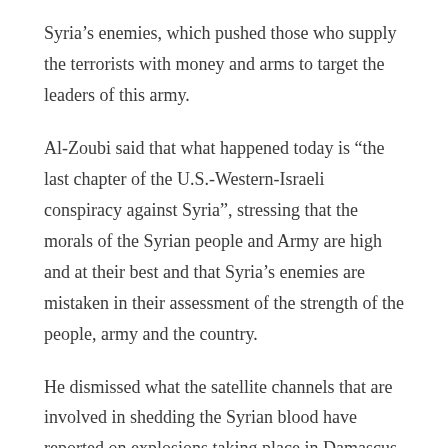Syria’s enemies, which pushed those who supply the terrorists with money and arms to target the leaders of this army.
Al-Zoubi said that what happened today is “the last chapter of the U.S.-Western-Israeli conspiracy against Syria”, stressing that the morals of the Syrian people and Army are high and at their best and that Syria’s enemies are mistaken in their assessment of the strength of the people, army and the country.
He dismissed what the satellite channels that are involved in shedding the Syrian blood have reported on explosions taking place in Damascus as “completely untrue”, stressing that Syria will not let these channels which went too far in the media war on the Syrian people get away with